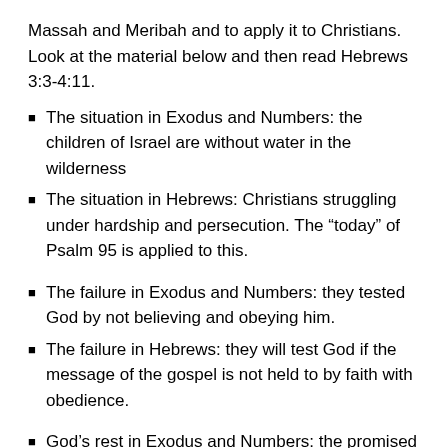Massah and Meribah and to apply it to Christians. Look at the material below and then read Hebrews 3:3-4:11.
The situation in Exodus and Numbers: the children of Israel are without water in the wilderness
The situation in Hebrews: Christians struggling under hardship and persecution. The “today” of Psalm 95 is applied to this.
The failure in Exodus and Numbers: they tested God by not believing and obeying him.
The failure in Hebrews: they will test God if the message of the gospel is not held to by faith with obedience.
God’s rest in Exodus and Numbers: the promised land is at the forefront.